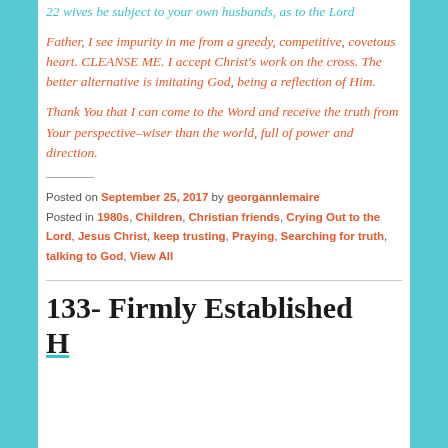22 wives be subject to your own husbands, as to the Lord
Father, I see impurity in me from a greedy, competitive, covetous heart. CLEANSE ME. I accept Christ’s work on the cross. The better alternative is imitating God, being a reflection of Him.
Thank You that I can come to the Word and receive the truth from Your perspective–wiser than the world, full of power and direction.
Posted on September 25, 2017 by georgannlemaire
Posted in 1980s, Children, Christian friends, Crying Out to the Lord, Jesus Christ, keep trusting, Praying, Searching for truth, talking to God, View All
133- Firmly Established